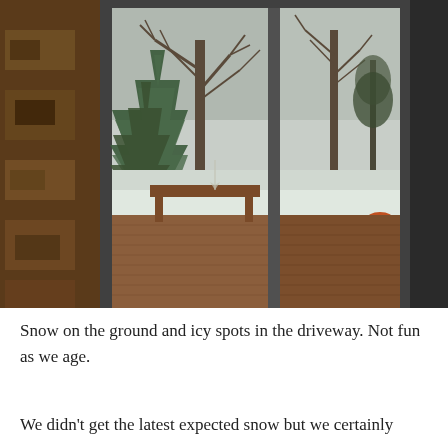[Figure (photo): View through a window with curtains. On the left is a tapestry or upholstered furniture with a woodland pattern. Through the window panes, a wooden deck is visible in the foreground, with snow-covered ground beyond. Several trees including an evergreen pine are visible in the background under an overcast winter sky. An orange pot or container sits on the deck.]
Snow on the ground and icy spots in the driveway. Not fun as we age.
We didn't get the latest expected snow but we certainly